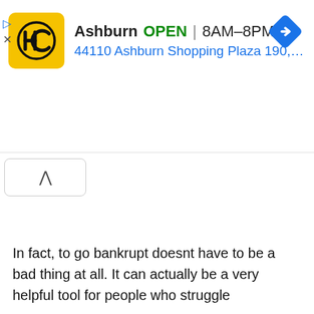[Figure (screenshot): Ad banner for HC (Hamlin Capital or similar) with yellow logo, showing Ashburn location OPEN 8AM-8PM, address 44110 Ashburn Shopping Plaza 190, A..., with blue navigation diamond icon, play and close controls]
[Figure (screenshot): Collapse/chevron-up button (^) in a rounded rectangle]
In fact, to go bankrupt doesnt have to be a bad thing at all. It can actually be a very helpful tool for people who struggle